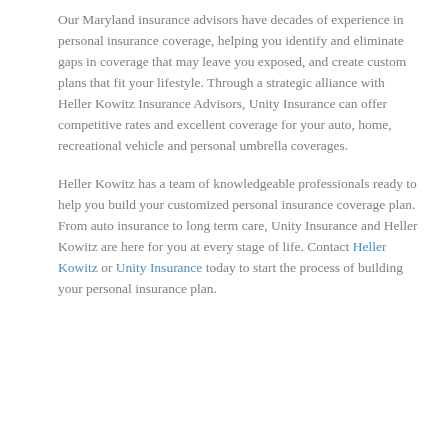Our Maryland insurance advisors have decades of experience in personal insurance coverage, helping you identify and eliminate gaps in coverage that may leave you exposed, and create custom plans that fit your lifestyle. Through a strategic alliance with Heller Kowitz Insurance Advisors, Unity Insurance can offer competitive rates and excellent coverage for your auto, home, recreational vehicle and personal umbrella coverages.
Heller Kowitz has a team of knowledgeable professionals ready to help you build your customized personal insurance coverage plan. From auto insurance to long term care, Unity Insurance and Heller Kowitz are here for you at every stage of life. Contact Heller Kowitz or Unity Insurance today to start the process of building your personal insurance plan.